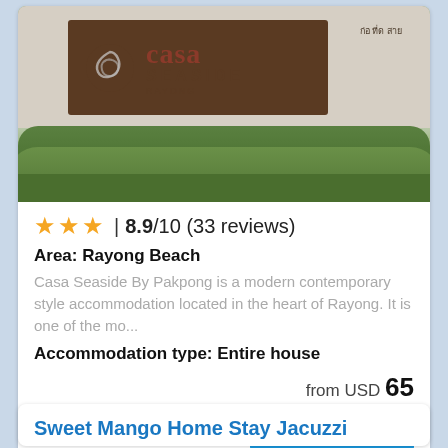[Figure (photo): Photo of Casa Seaside Rayong hotel sign with bushes and grass in foreground]
★★★ | 8.9/10 (33 reviews)
Area: Rayong Beach
Casa Seaside By Pakpong is a modern contemporary style accommodation located in the heart of Rayong. It is one of the mo...
Accommodation type: Entire house
from USD 65
more details ...
Sweet Mango Home Stay Jacuzzi